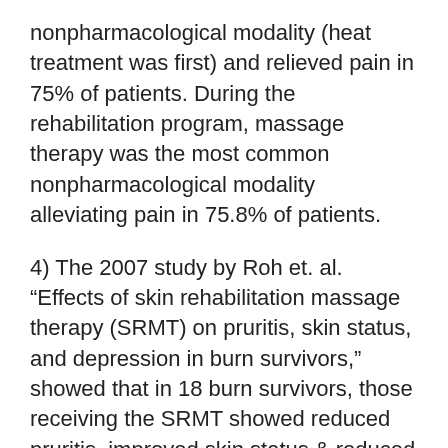nonpharmacological modality (heat treatment was first) and relieved pain in 75% of patients. During the rehabilitation program, massage therapy was the most common nonpharmacological modality alleviating pain in 75.8% of patients.
4) The 2007 study by Roh et. al. “Effects of skin rehabilitation massage therapy (SRMT) on pruritis, skin status, and depression in burn survivors,” showed that in 18 burn survivors, those receiving the SRMT showed reduced pruritis, improved skin status & reduced depression. The remaining scar showed improvement in skin pigmentation, pliability, vascularity & height.
The authors would like the position statement